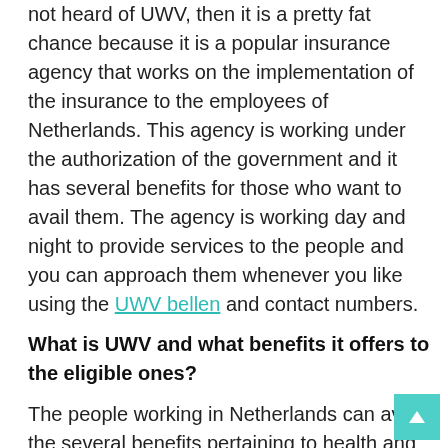not heard of UWV, then it is a pretty fat chance because it is a popular insurance agency that works on the implementation of the insurance to the employees of Netherlands. This agency is working under the authorization of the government and it has several benefits for those who want to avail them. The agency is working day and night to provide services to the people and you can approach them whenever you like using the UWV bellen and contact numbers.
What is UWV and what benefits it offers to the eligible ones?
The people working in Netherlands can avail the several benefits pertaining to health and